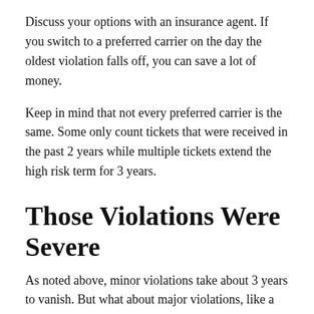Discuss your options with an insurance agent. If you switch to a preferred carrier on the day the oldest violation falls off, you can save a lot of money.
Keep in mind that not every preferred carrier is the same. Some only count tickets that were received in the past 2 years while multiple tickets extend the high risk term for 3 years.
Those Violations Were Severe
As noted above, minor violations take about 3 years to vanish. But what about major violations, like a DUI? In that event, it could take up to 5 years to get